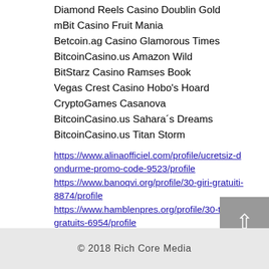Diamond Reels Casino Doublin Gold
mBit Casino Fruit Mania
Betcoin.ag Casino Glamorous Times
BitcoinCasino.us Amazon Wild
BitStarz Casino Ramses Book
Vegas Crest Casino Hobo's Hoard
CryptoGames Casanova
BitcoinCasino.us Sahara´s Dreams
BitcoinCasino.us Titan Storm
https://www.alinaofficiel.com/profile/ucretsiz-dondurme-promo-code-9523/profile https://www.banoqvi.org/profile/30-giri-gratuiti-8874/profile https://www.hamblenpres.org/profile/30-tours-gratuits-6954/profile https://www.jumpinnalice.com/profile/promokody-registratio-5316/profile
© 2018 Rich Core Media